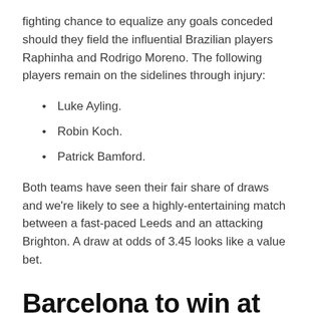fighting chance to equalize any goals conceded should they field the influential Brazilian players Raphinha and Rodrigo Moreno. The following players remain on the sidelines through injury:
Luke Ayling.
Robin Koch.
Patrick Bamford.
Both teams have seen their fair share of draws and we're likely to see a highly-entertaining match between a fast-paced Leeds and an attacking Brighton. A draw at odds of 3.45 looks like a value bet.
Barcelona to win at odds of